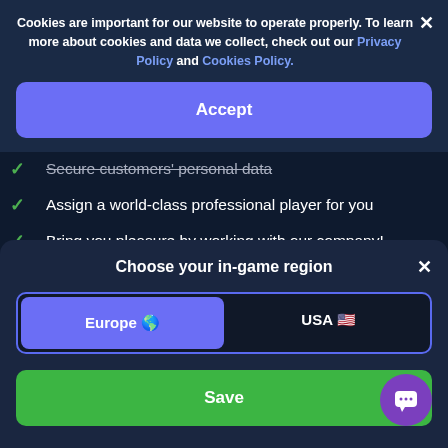Cookies are important for our website to operate properly. To learn more about cookies and data we collect, check out our Privacy Policy and Cookies Policy.
Accept
Secure customers' personal data
Assign a world-class professional player for you
Bring you pleasure by working with our company!
SkyCoach → Destiny 2 → Bundles
Choose your in-game region
Europe 🌐
USA 🇺🇸
Save